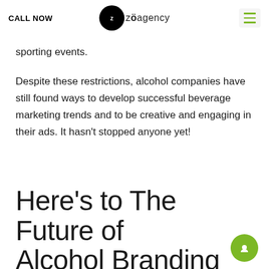CALL NOW | zöagency
sporting events.
Despite these restrictions, alcohol companies have still found ways to develop successful beverage marketing trends and to be creative and engaging in their ads. It hasn't stopped anyone yet!
Here's to The Future of Alcohol Branding and Advertising